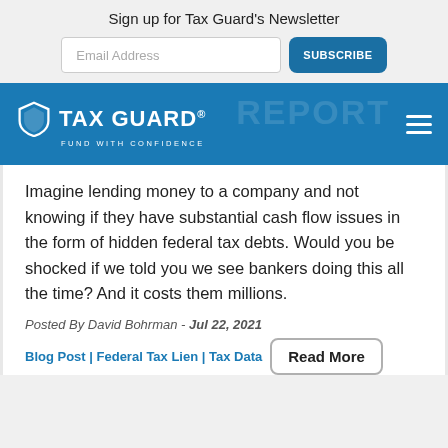Sign up for Tax Guard's Newsletter
[Figure (other): Email Address input field and SUBSCRIBE button for newsletter signup]
[Figure (logo): Tax Guard logo with shield icon and tagline FUND WITH CONFIDENCE on blue navigation bar with hamburger menu]
Imagine lending money to a company and not knowing if they have substantial cash flow issues in the form of hidden federal tax debts. Would you be shocked if we told you we see bankers doing this all the time? And it costs them millions.
Posted By David Bohrman - Jul 22, 2021
Blog Post | Federal Tax Lien | Tax Data
Read More